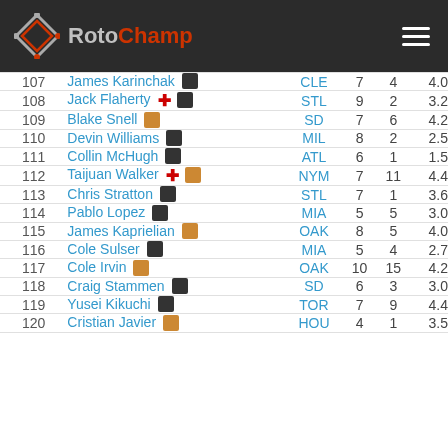RotoChamp
| Rank | Player | Team | Col3 | Col4 | Col5 |
| --- | --- | --- | --- | --- | --- |
| 107 | James Karinchak | CLE | 7 | 4 | 4.0 |
| 108 | Jack Flaherty | STL | 9 | 2 | 3.2 |
| 109 | Blake Snell | SD | 7 | 6 | 4.2 |
| 110 | Devin Williams | MIL | 8 | 2 | 2.5 |
| 111 | Collin McHugh | ATL | 6 | 1 | 1.5 |
| 112 | Taijuan Walker | NYM | 7 | 11 | 4.4 |
| 113 | Chris Stratton | STL | 7 | 1 | 3.6 |
| 114 | Pablo Lopez | MIA | 5 | 5 | 3.0 |
| 115 | James Kaprielian | OAK | 8 | 5 | 4.0 |
| 116 | Cole Sulser | MIA | 5 | 4 | 2.7 |
| 117 | Cole Irvin | OAK | 10 | 15 | 4.2 |
| 118 | Craig Stammen | SD | 6 | 3 | 3.0 |
| 119 | Yusei Kikuchi | TOR | 7 | 9 | 4.4 |
| 120 | Cristian Javier | HOU | 4 | 1 | 3.5 |